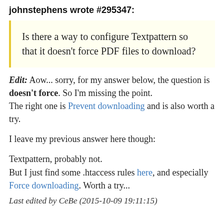johnstephens wrote #295347:
Is there a way to configure Textpattern so that it doesn't force PDF files to download?
Edit: Aow... sorry, for my answer below, the question is doesn't force. So I'm missing the point.
The right one is Prevent downloading and is also worth a try.
I leave my previous answer here though:
Textpattern, probably not.
But I just find some .htaccess rules here, and especially Force downloading. Worth a try...
Last edited by CeBe (2015-10-09 19:11:15)